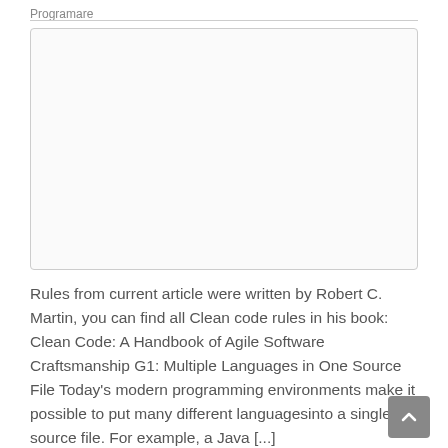Programare
[Figure (other): Empty white/light gray placeholder image box with a thin gray border and rounded corners.]
Rules from current article were written by Robert C. Martin, you can find all Clean code rules in his book: Clean Code: A Handbook of Agile Software Craftsmanship G1: Multiple Languages in One Source File Today's modern programming environments make it possible to put many different languagesinto a single source file. For example, a Java [...]